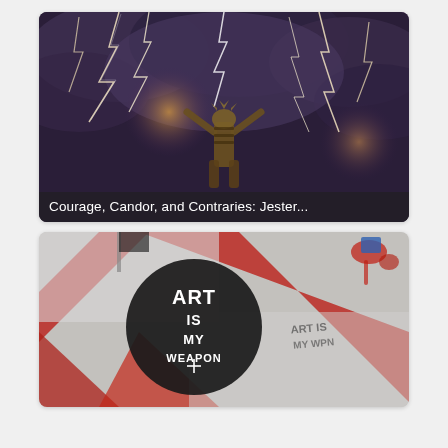[Figure (illustration): Fantasy digital illustration of a creature with raised arms amid dramatic lightning bolts against a dark storm sky. Text overlay at bottom reads 'Courage, Candor, and Contraries: Jester...']
Courage, Candor, and Contraries: Jester...
[Figure (photo): Street art / graffiti photo showing a large circular black sticker or stencil with text 'ART IS MY WEAPON' overlaid on red and white painted wall surface.]